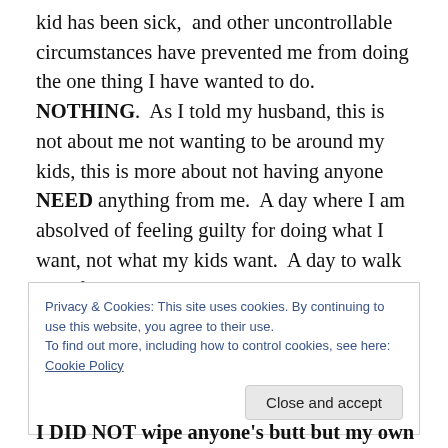kid has been sick,  and other uncontrollable circumstances have prevented me from doing the one thing I have wanted to do.  NOTHING.  As I told my husband, this is not about me not wanting to be around my kids, this is more about not having anyone NEED anything from me.  A day where I am absolved of feeling guilty for doing what I want, not what my kids want.  A day to walk out of the house to go shopping, alone and without moving heaven and earth to get said few hours alone to myself.
Privacy & Cookies: This site uses cookies. By continuing to use this website, you agree to their use.
To find out more, including how to control cookies, see here: Cookie Policy
Close and accept
I DID NOT wipe anyone's butt but my own